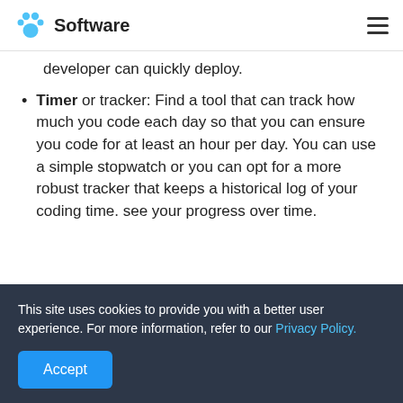Software
developer can quickly deploy.
Timer or tracker: Find a tool that can track how much you code each day so that you can ensure you code for at least an hour per day. You can use a simple stopwatch or you can opt for a more robust tracker that keeps a historical log of your coding time. see your progress over time.
This site uses cookies to provide you with a better user experience. For more information, refer to our Privacy Policy.